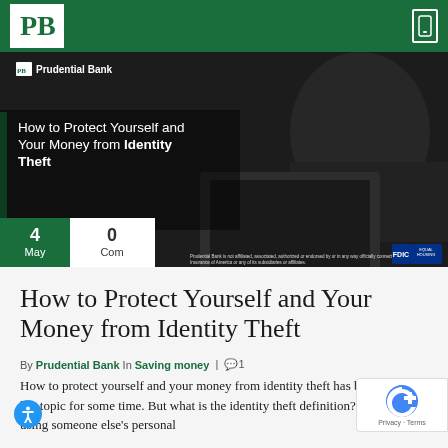Prudential Bank
[Figure (photo): Video thumbnail showing a hooded person at a laptop computer with overlay text 'How to Protect Yourself and Your Money from Identity Theft' and Prudential Bank logo. Date shown: 4 May, 0 Comments.]
How to Protect Yourself and Your Money from Identity Theft
By Prudential Bank In Saving money | 0 1
How to protect yourself and your money from identity theft has been a hot topic for some time. But what is the identity theft definition? It is using someone else's personal